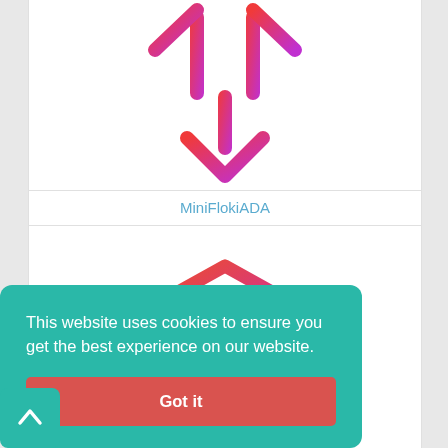[Figure (logo): MiniFlokiADA logo: arrow/fork shape in red-to-purple gradient pointing downward]
MiniFlokiADA
[Figure (logo): 3D cube icon with downward arrow in orange-to-purple gradient]
Sincere Doge
This website uses cookies to ensure you get the best experience on our website.
Got it